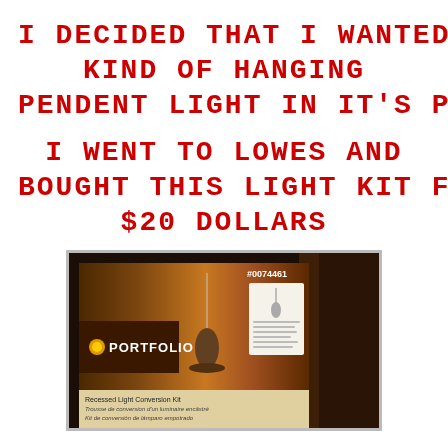I DECIDED THAT I WANTED SOME KIND OF HANGING PENDENT LIGHT IN IT'S PLACE
I WENT TO LOWES AND BOUGHT THIS LIGHT KIT FOR $20 DOLLARS
[Figure (photo): A Portfolio brand Recessed Light Conversion Kit product box. The box shows item number #0074461, features the Portfolio logo with an orange dot, an image of a pendant light, and text reading 'Recessed Light Conversion Kit / Trousse de conversion d'un luminaire encâstré / Kit de conversión de lámparo empotrado'.]